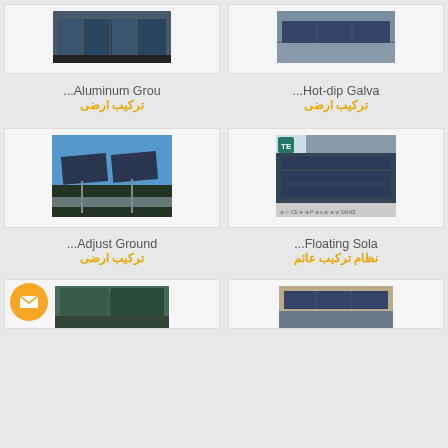[Figure (photo): Solar panel ground mount installation photo - top left, partial view]
...Aluminum Grou
ترکیب ارضی
[Figure (photo): Solar panel installation photo - top right, partial view]
...Hot-dip Galva
ترکیب ارضی
[Figure (photo): Adjust ground mount solar panel installation in snowy conditions]
...Adjust Ground
ترکیب ارضی
[Figure (photo): Floating solar panel system on water body with certification logos]
...Floating Sola
نظام ترکیب عائم
[Figure (photo): Bottom left solar panel installation - partial view]
[Figure (photo): Bottom right solar panel installation - partial view]